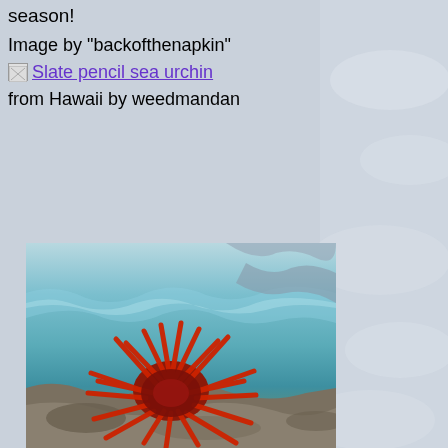season!
Image by "backofthenapkin"
Slate pencil sea urchin
from Hawaii by weedmandan
[Figure (photo): A slate pencil sea urchin with thick red spines photographed in shallow clear water near rocky shoreline in Hawaii]